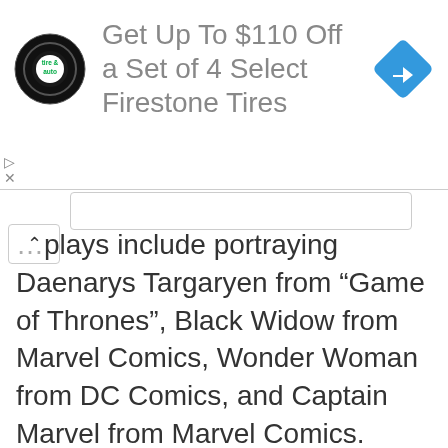[Figure (screenshot): Advertisement banner for Firestone Tires showing a tire & auto logo on the left, text 'Get Up To $110 Off a Set of 4 Select Firestone Tires' in the center, and a blue navigation/directions diamond icon on the right.]
...plays include portraying Daenarys Targaryen from “Game of Thrones”, Black Widow from Marvel Comics, Wonder Woman from DC Comics, and Captain Marvel from Marvel Comics.